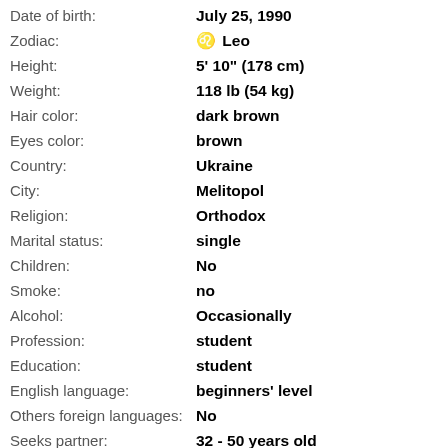| Field | Value |
| --- | --- |
| Date of birth: | July 25, 1990 |
| Zodiac: | ♌ Leo |
| Height: | 5' 10" (178 cm) |
| Weight: | 118 lb (54 kg) |
| Hair color: | dark brown |
| Eyes color: | brown |
| Country: | Ukraine |
| City: | Melitopol |
| Religion: | Orthodox |
| Marital status: | single |
| Children: | No |
| Smoke: | no |
| Alcohol: | Occasionally |
| Profession: | student |
| Education: | student |
| English language: | beginners' level |
| Others foreign languages: | No |
| Seeks partner: | 32 - 50 years old |